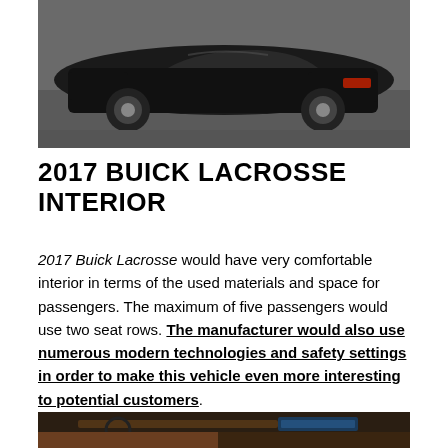[Figure (photo): Black Buick LaCrosse sedan driving on a road, rear/side view, dark asphalt background]
2017 BUICK LACROSSE INTERIOR
2017 Buick Lacrosse would have very comfortable interior in terms of the used materials and space for passengers. The maximum of five passengers would use two seat rows. The manufacturer would also use numerous modern technologies and safety settings in order to make this vehicle even more interesting to potential customers.
[Figure (photo): Interior of 2017 Buick LaCrosse showing dashboard, steering wheel, infotainment screen, wood trim accents, and center console with brown/tan leather]